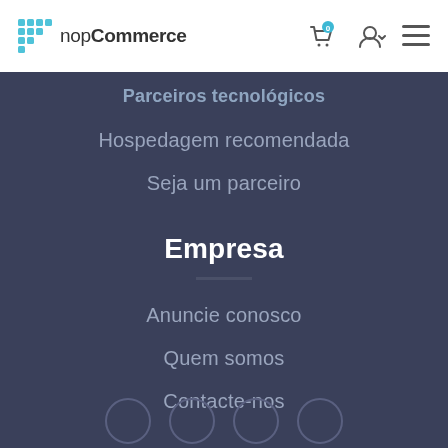[Figure (logo): nopCommerce logo with blue grid icon and text]
[Figure (other): Header icons: shopping cart with 0 badge, user account icon with dropdown arrow, hamburger menu]
Parceiros tecnológicos
Hospedagem recomendada
Seja um parceiro
Empresa
Anuncie conosco
Quem somos
Contacte-nos
[Figure (other): Social media icon circles at the bottom (partially visible)]